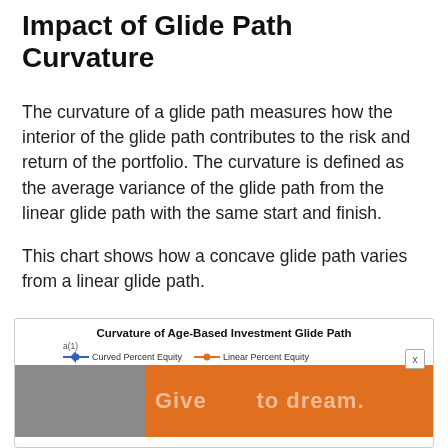Impact of Glide Path Curvature
The curvature of a glide path measures how the interior of the glide path contributes to the risk and return of the portfolio. The curvature is defined as the average variance of the glide path from the linear glide path with the same start and finish.
This chart shows how a concave glide path varies from a linear glide path.
[Figure (line-chart): Chart partially obscured by advertisement overlay. Shows curved and linear glide paths with y-axis showing percent equity from ~60% to 100%.]